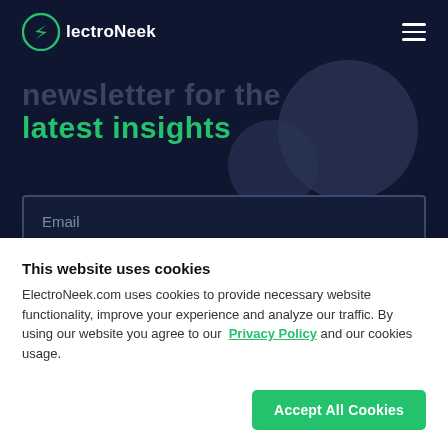ElectroNeek
newsletter for the latest insights
Email
This website uses cookies
ElectroNeek.com uses cookies to provide necessary website functionality, improve your experience and analyze our traffic. By using our website you agree to our Privacy Policy and our cookies usage.
Accept All Cookies